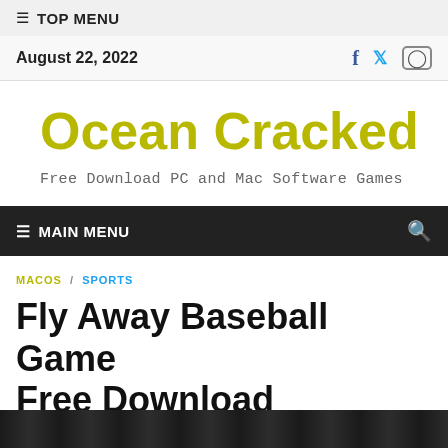☰ TOP MENU
August 22, 2022
Ocean Cracked
Free Download PC and Mac Software Games
☰ MAIN MENU
MACOS / SPORTS
Fly Away Baseball Game Free Download
November 25, 2020 - by admin - Leave a Comment
[Figure (photo): Dark bottom image strip, partial screenshot of article image]